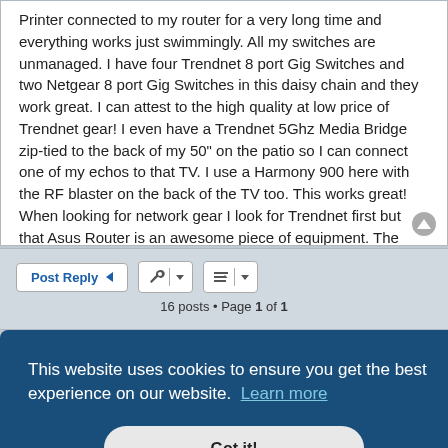Printer connected to my router for a very long time and everything works just swimmingly. All my switches are unmanaged. I have four Trendnet 8 port Gig Switches and two Netgear 8 port Gig Switches in this daisy chain and they work great. I can attest to the high quality at low price of Trendnet gear! I even have a Trendnet 5Ghz Media Bridge zip-tied to the back of my 50" on the patio so I can connect one of my echos to that TV. I use a Harmony 900 here with the RF blaster on the back of the TV too. This works great! When looking for network gear I look for Trendnet first but that Asus Router is an awesome piece of equipment. The F/W on it is a modification of DD-with regard to and is very flexible while being easy to use.
16 posts • Page 1 of 1
This website uses cookies to ensure you get the best experience on our website. Learn more
Got it!